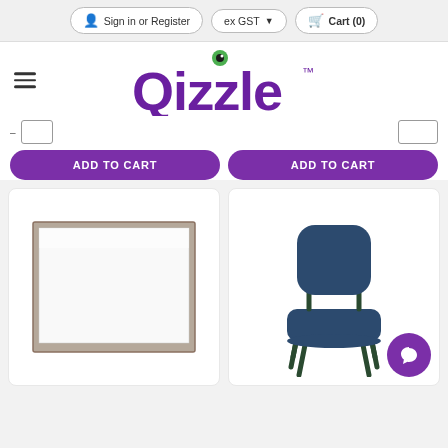Sign in or Register  |  ex GST  |  Cart (0)
[Figure (logo): Qizzle logo in purple with a green eye dot above the letter i]
ADD TO CART (left button)
ADD TO CART (right button)
[Figure (photo): A white magnetic whiteboard with a silver/dark metal frame]
[Figure (photo): A dark navy blue fabric office/visitor chair with metal legs]